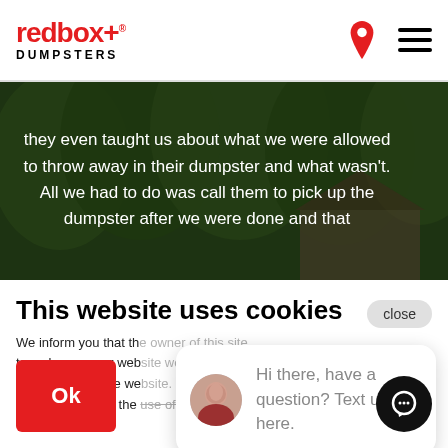[Figure (logo): redbox+ DUMPSTERS logo in red and black]
[Figure (photo): Dark green tree canopy background with white overlay text: they even taught us about what we were allowed to throw away in their dumpster and what wasn't. All we had to do was call them to pick up the dumpster after we were done and that]
they even taught us about what we were allowed to throw away in their dumpster and what wasn't. All we had to do was call them to pick up the dumpster after we were done and that
This website uses cookies
We inform you that th... to make sure our web... functionality of the we... declare to accept the use of cookies.
[Figure (screenshot): Chat popup bubble with avatar photo of woman and text: Hi there, have a question? Text us here.]